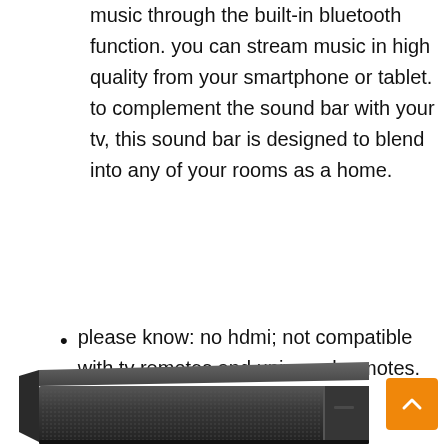music through the built-in bluetooth function. you can stream music in high quality from your smartphone or tablet. to complement the sound bar with your tv, this sound bar is designed to blend into any of your rooms as a home.
please know: no hdmi; not compatible with tv remotes and universal remotes.
[Figure (photo): A black sound bar / speaker bar product photo viewed from a slight angle, showing the front grille with a dot pattern and a divider line near the right side.]